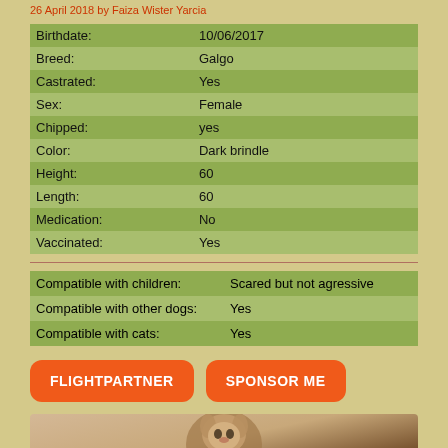26 April 2018 by Faiza Wister Yarcia
| Birthdate: | 10/06/2017 |
| Breed: | Galgo |
| Castrated: | Yes |
| Sex: | Female |
| Chipped: | yes |
| Color: | Dark brindle |
| Height: | 60 |
| Length: | 60 |
| Medication: | No |
| Vaccinated: | Yes |
| Compatible with children: | Scared but not agressive |
| Compatible with other dogs: | Yes |
| Compatible with cats: | Yes |
FLIGHTPARTNER   SPONSOR ME
[Figure (photo): Photo of a dog with dark brindle coat]